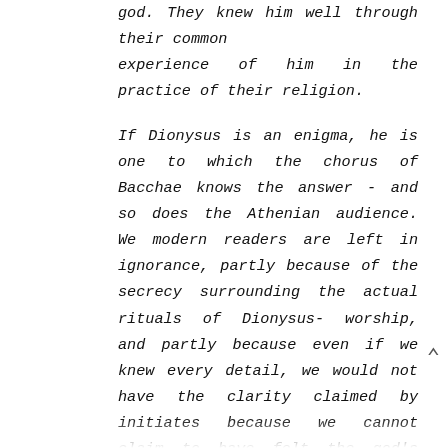god. They knew him well through their common experience of him in the practice of their religion.
If Dionysus is an enigma, he is one to which the chorus of Bacchae knows the answer - and so does the Athenian audience. We modern readers are left in ignorance, partly because of the secrecy surrounding the actual rituals of Dionysus-worship, and partly because even if we knew every detail, we would not have the clarity claimed by initiates because we cannot claim to have felt the god's presence.
The point of the play is not that we should be content with mystery and give up on our ambition for a clear understanding. It is a peculiarly modern error to prize the mystery or ambiguity of Dionysus for its own sake. The point, rather, is that clear understanding comes only by way of